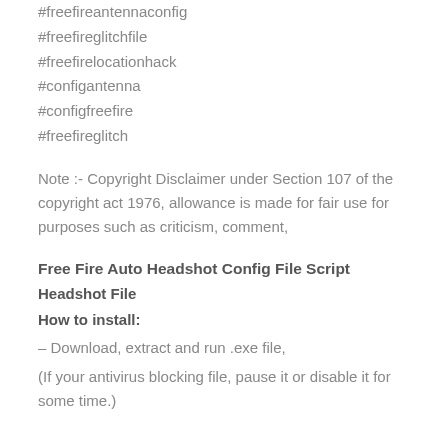#freefireantennaconfig
#freefireglitchfile
#freefirelocationhack
#configantenna
#configfreefire
#freefireglitch
Note :- Copyright Disclaimer under Section 107 of the copyright act 1976, allowance is made for fair use for purposes such as criticism, comment,
Free Fire Auto Headshot Config File Script
Headshot File
How to install:
– Download, extract and run .exe file,
(If your antivirus blocking file, pause it or disable it for some time.)